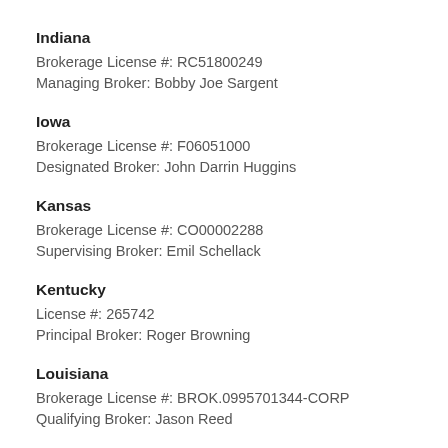Indiana
Brokerage License #: RC51800249
Managing Broker: Bobby Joe Sargent
Iowa
Brokerage License #: F06051000
Designated Broker: John Darrin Huggins
Kansas
Brokerage License #: CO00002288
Supervising Broker: Emil Schellack
Kentucky
License #: 265742
Principal Broker: Roger Browning
Louisiana
Brokerage License #: BROK.0995701344-CORP
Qualifying Broker: Jason Reed